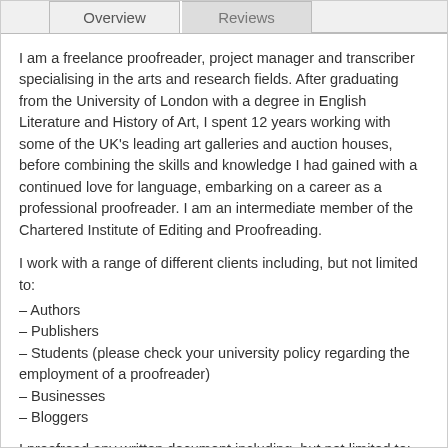Overview | Reviews
I am a freelance proofreader, project manager and transcriber specialising in the arts and research fields. After graduating from the University of London with a degree in English Literature and History of Art, I spent 12 years working with some of the UK's leading art galleries and auction houses, before combining the skills and knowledge I had gained with a continued love for language, embarking on a career as a professional proofreader. I am an intermediate member of the Chartered Institute of Editing and Proofreading.
I work with a range of different clients including, but not limited to:
– Authors
– Publishers
– Students (please check your university policy regarding the employment of a proofreader)
– Businesses
– Bloggers
I proofread any written document including, but not limited to:
– Marketing materials
– Websites
– Scripts
– Catalogues
– Brochures